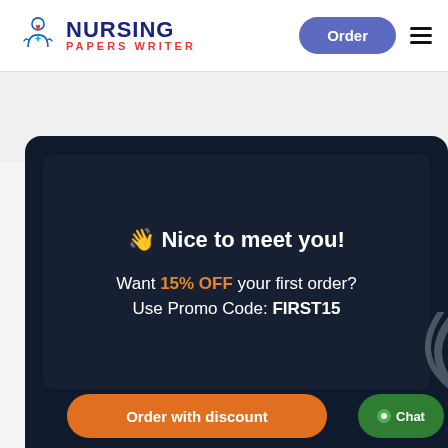[Figure (logo): Nursing Papers Writer logo with nurse/doctor icon in blue outline, medical cross in cyan/teal]
NURSING Papers Writer | Order | Menu
👋 Nice to meet you!
Want 15% OFF your first order? Use Promo Code: FIRST15
Order with discount
Chat